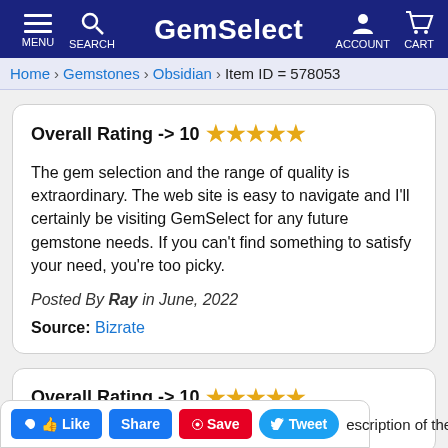GemSelect — MENU SEARCH ACCOUNT CART
Home > Gemstones > Obsidian > Item ID = 578053
Overall Rating -> 10 ★★★★★
The gem selection and the range of quality is extraordinary. The web site is easy to navigate and I'll certainly be visiting GemSelect for any future gemstone needs. If you can't find something to satisfy your need, you're too picky.
Posted By Ray in June, 2022
Source: Bizrate
Overall Rating -> 10 ★★★★★
...description of the ...rk you...